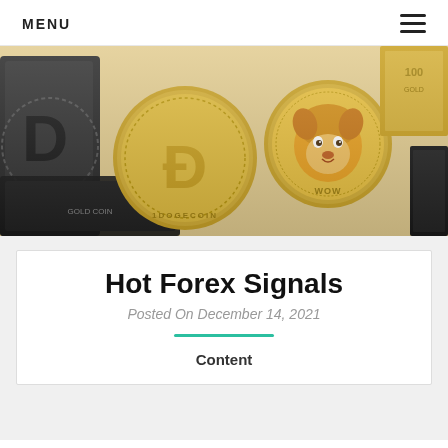MENU
[Figure (photo): Two gold Dogecoin physical coins on a light background, with dark cryptocurrency/gold bars visible at edges. One coin shows the Dogecoin 'D' logo, the other shows the Shiba Inu dog face with 'WOW' text.]
Hot Forex Signals
Posted On December 14, 2021
Content